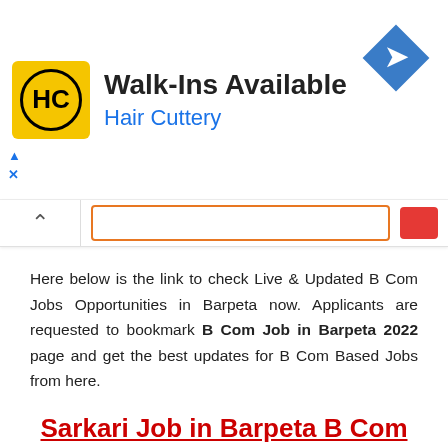[Figure (screenshot): Advertisement banner for Hair Cuttery showing yellow logo with HC text, 'Walk-Ins Available' headline, 'Hair Cuttery' subtext in blue, and blue diamond arrow icon on the right]
[Figure (screenshot): Browser search bar with orange border, chevron/collapse button on left, red search button on right]
Here below is the link to check Live & Updated B Com Jobs Opportunities in Barpeta now. Applicants are requested to bookmark B Com Job in Barpeta 2022 page and get the best updates for B Com Based Jobs from here.
Sarkari Job in Barpeta B Com Pass 2022
Apply Various Job Roles Related to B Com pass job in